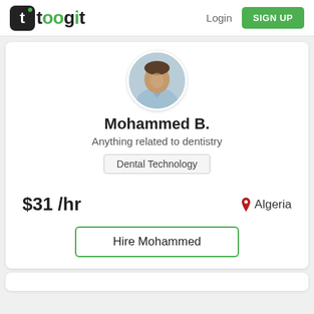toogit  Login  SIGN UP
[Figure (photo): Circular profile photo of Mohammed B., showing a person in a light blue shirt]
Mohammed B.
Anything related to dentistry
Dental Technology
$31 /hr
Algeria
Hire Mohammed